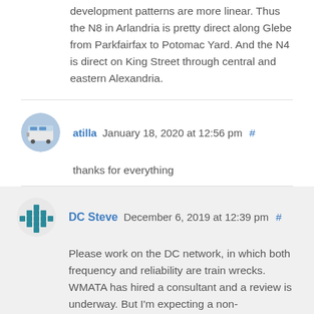development patterns are more linear. Thus the N8 in Arlandria is pretty direct along Glebe from Parkfairfax to Potomac Yard. And the N4 is direct on King Street through central and eastern Alexandria.
atilla January 18, 2020 at 12:56 pm #
thanks for everything
DC Steve December 6, 2019 at 12:39 pm #
Please work on the DC network, in which both frequency and reliability are train wrecks. WMATA has hired a consultant and a review is underway. But I'm expecting a non-